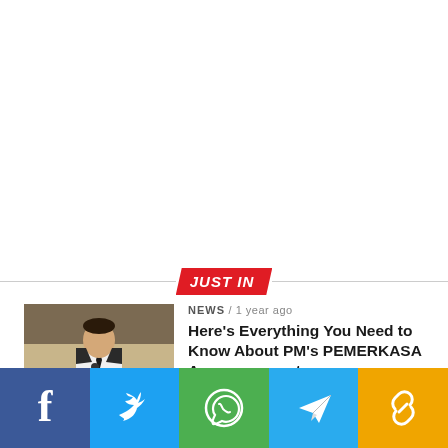JUST IN
[Figure (photo): A man in white shirt and tie speaking at a podium with microphones, with a dark backdrop.]
NEWS / 1 year ago
Here's Everything You Need to Know About PM's PEMERKASA Announcement